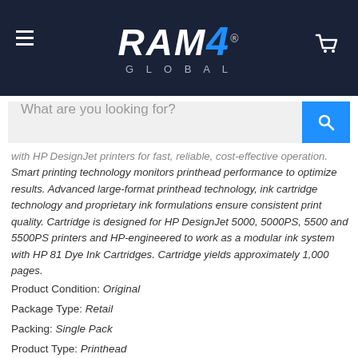[Figure (logo): RAM4 GLOBAL logo in white and blue on dark navy header bar]
[Figure (screenshot): Search bar with placeholder text 'What are you looking for?' and blue search button]
with HP DesignJet printers for fast, reliable, cost-effective operation. Smart printing technology monitors printhead performance to optimize results. Advanced large-format printhead technology, ink cartridge technology and proprietary ink formulations ensure consistent print quality. Cartridge is designed for HP DesignJet 5000, 5000PS, 5500 and 5500PS printers and HP-engineered to work as a modular ink system with HP 81 Dye Ink Cartridges. Cartridge yields approximately 1,000 pages.
Product Condition: Original
Package Type: Retail
Packing: Single Pack
Product Type: Printhead
Technical Information
Print Technology: Inkjet
Print Color: Light Magenta
Typical Print Yield: 1000 Pages